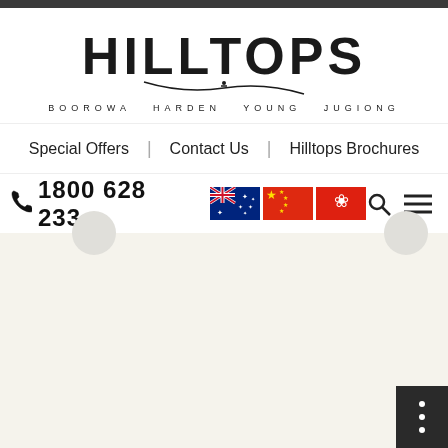[Figure (logo): Hilltops logo with town names: Boorowa, Harden, Young, Jugiong]
Special Offers | Contact Us | Hilltops Brochures
1800 628 233
[Figure (illustration): Australian flag, Chinese flag, Hong Kong flag icons, search icon, and menu icon]